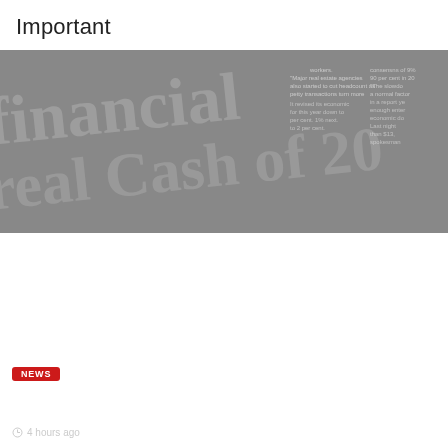Important
[Figure (photo): Newspaper with large financial crisis headline text, partially visible, dark overlay with news article overlay]
NEWS
Is AMD Stock A Buy After Chipmaker’s Quarterly Report?
4 hours ago
[Figure (photo): Close-up of a stock certificate or financial document with cursive handwriting and red bond certificate on the left]
NEWS
This Is How Much a $500K Annuity Pays Per Month